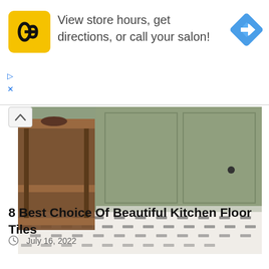[Figure (screenshot): Ad banner with HC (Hair Club) yellow logo on left, text 'View store hours, get directions, or call your salon!' in center, blue navigation diamond icon on right. Small play and X controls at bottom left of banner.]
[Figure (photo): Kitchen scene showing patterned floor tiles with small dark rectangles on white background, wooden side table/shelf on left, sage green kitchen cabinetry in background]
8 Best Choice Of Beautiful Kitchen Floor Tiles
July 16, 2022